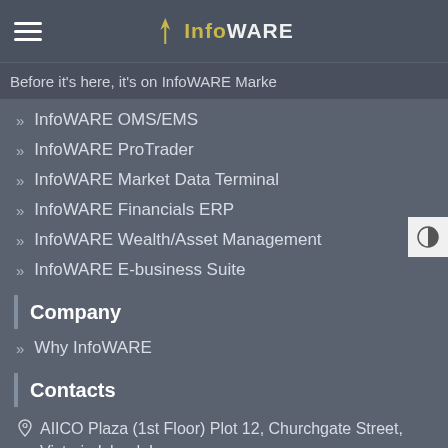InfoWARE
Before it's here, it's on InfoWARE Marke
InfoWARE OMS/EMS
InfoWARE ProTrader
InfoWARE Market Data Terminal
InfoWARE Financials ERP
InfoWARE Wealth/Asset Management
InfoWARE E-business Suite
Company
Why InfoWARE
Contacts
AIICO Plaza (1st Floor) Plot 12, Churchgate Street, Victoria Island, Lagos